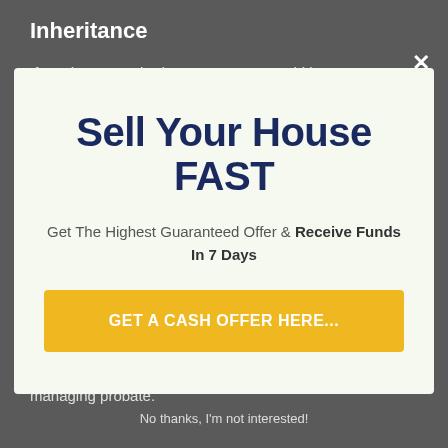Inheritance
If you have acquired a property you could be
Sell Your House FAST
Get The Highest Guaranteed Offer & Receive Funds In 7 Days
GET A CASH OFFER HERE...
residence sell resolution as well as did intend to wait to offer it on the open market. We are professionals in managing probate.
No thanks, I'm not interested!